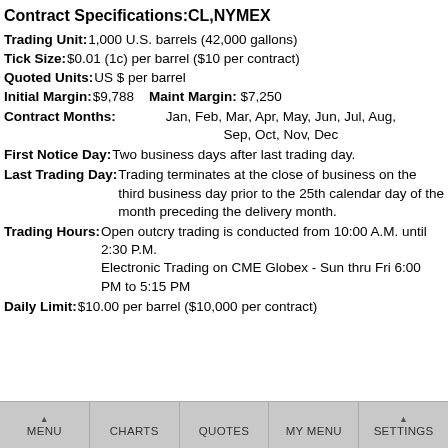Contract Specifications:CL,NYMEX
Trading Unit: 1,000 U.S. barrels (42,000 gallons)
Tick Size: $0.01 (1c) per barrel ($10 per contract)
Quoted Units: US $ per barrel
Initial Margin: $9,788   Maint Margin: $7,250
Contract Months: Jan, Feb, Mar, Apr, May, Jun, Jul, Aug, Sep, Oct, Nov, Dec
First Notice Day: Two business days after last trading day.
Last Trading Day: Trading terminates at the close of business on the third business day prior to the 25th calendar day of the month preceding the delivery month.
Trading Hours: Open outcry trading is conducted from 10:00 A.M. until 2:30 P.M. Electronic Trading on CME Globex - Sun thru Fri 6:00 PM to 5:15 PM
Daily Limit: $10.00 per barrel ($10,000 per contract)
MENU | CHARTS | QUOTES | MY MENU | SETTINGS